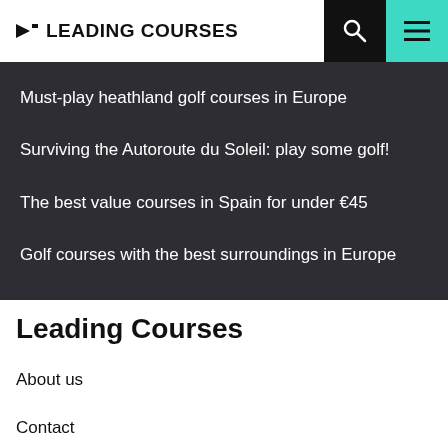LEADING COURSES
Must-play heathland golf courses in Europe
Surviving the Autoroute du Soleil: play some golf!
The best value courses in Spain for under €45
Golf courses with the best surroundings in Europe
Leading Courses
About us
Contact
Careers